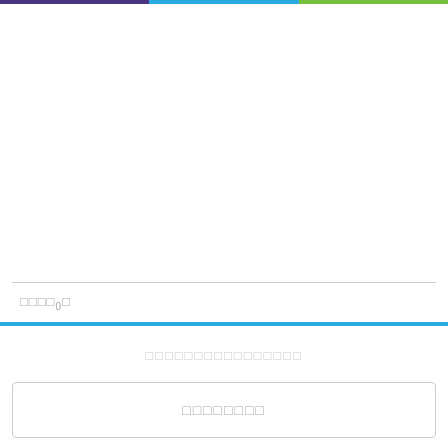[three-color top bar: purple, blue, green]
□□□□□0□
□□□□□□□□□□□□□□□□
□□□□□□□□